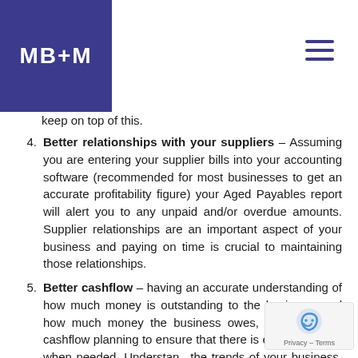MB+M
keep on top of this.
4. Better relationships with your suppliers – Assuming you are entering your supplier bills into your accounting software (recommended for most businesses to get an accurate profitability figure) your Aged Payables report will alert you to any unpaid and/or overdue amounts. Supplier relationships are an important aspect of your business and paying on time is crucial to maintaining those relationships.
5. Better cashflow – having an accurate understanding of how much money is outstanding to the business, and how much money the business owes, can help with cashflow planning to ensure that there is enough money when needed. Understanding the trends of your business, its profitability